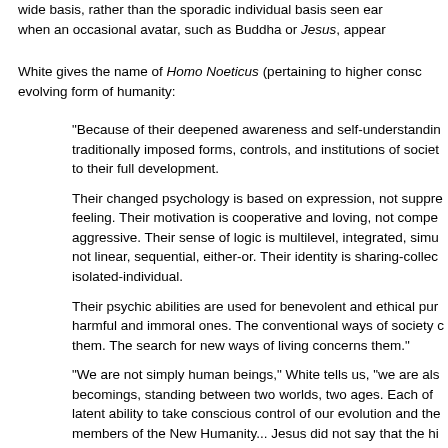wide basis, rather than the sporadic individual basis seen earlier, when an occasional avatar, such as Buddha or Jesus, appear
White gives the name of Homo Noeticus (pertaining to higher consciousness) evolving form of humanity:
"Because of their deepened awareness and self-understanding, traditionally imposed forms, controls, and institutions of society to their full development.

Their changed psychology is based on expression, not suppression of feeling. Their motivation is cooperative and loving, not competitive and aggressive. Their sense of logic is multilevel, integrated, simultaneous, not linear, sequential, either-or. Their identity is sharing-collective, not isolated-individual.

Their psychic abilities are used for benevolent and ethical purposes, not harmful and immoral ones. The conventional ways of society concern them. The search for new ways of living concerns them."

"We are not simply human beings," White tells us, "we are also human becomings, standing between two worlds, two ages. Each of us has the latent ability to take conscious control of our evolution and thereby become members of the New Humanity... Jesus did not say that the higher consciousness was his alone for all time.

Rather, he called us to follow him, from his example."